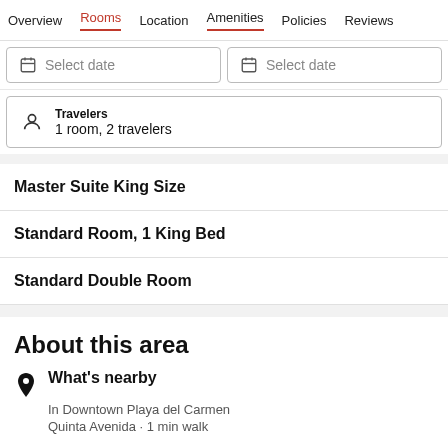Overview  Rooms  Location  Amenities  Policies  Reviews
Select date  Select date
Travelers
1 room, 2 travelers
Master Suite King Size
Standard Room, 1 King Bed
Standard Double Room
About this area
What's nearby
In Downtown Playa del Carmen
Quinta Avenida · 1 min walk